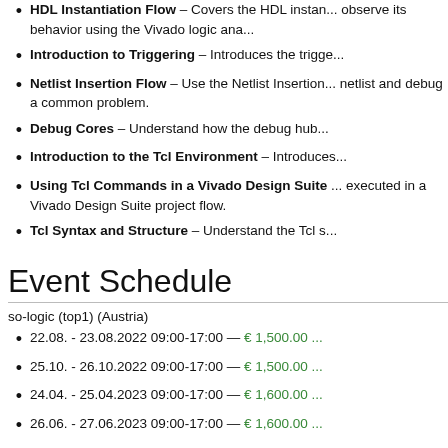HDL Instantiation Flow – Covers the HDL instan... observe its behavior using the Vivado logic ana...
Introduction to Triggering – Introduces the trigge...
Netlist Insertion Flow – Use the Netlist Insertion... netlist and debug a common problem.
Debug Cores – Understand how the debug hub...
Introduction to the Tcl Environment – Introduces...
Using Tcl Commands in a Vivado Design Suite ... executed in a Vivado Design Suite project flow.
Tcl Syntax and Structure – Understand the Tcl s...
Event Schedule
so-logic (top1) (Austria)
22.08. - 23.08.2022 09:00-17:00 — € 1,500.00 ...
25.10. - 26.10.2022 09:00-17:00 — € 1,500.00 ...
24.04. - 25.04.2023 09:00-17:00 — € 1,600.00 ...
26.06. - 27.06.2023 09:00-17:00 — € 1,600.00 ...
Partner
Xilinx